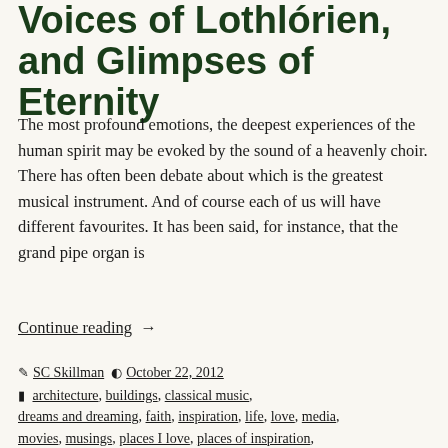Voices of Lothlórien, and Glimpses of Eternity
The most profound emotions, the deepest experiences of the human spirit may be evoked by the sound of a heavenly choir. There has often been debate about which is the greatest musical instrument. And of course each of us will have different favourites. It has been said, for instance, that the grand pipe organ is
Continue reading  →
Post author: SC Skillman  Posted: October 22, 2012  Categories: architecture, buildings, classical music, dreams and dreaming, faith, inspiration, life, love, media, movies, musings, places I love, places of inspiration, religion, SC Skillman, spirituality, thoughts